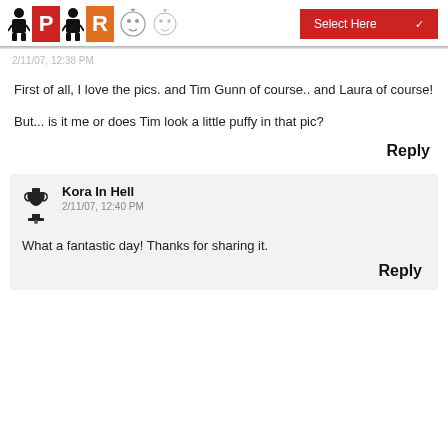[Figure (logo): Project Rungway logo with person icons, red P block, orange R block, and cartoon face sketches]
Select Here
2/11/07, 12:38 PM
First of all, I love the pics. and Tim Gunn of course.. and Laura of course!
But... is it me or does Tim look a little puffy in that pic?
Reply
Kora In Hell
2/11/07, 12:40 PM
What a fantastic day! Thanks for sharing it.
Reply